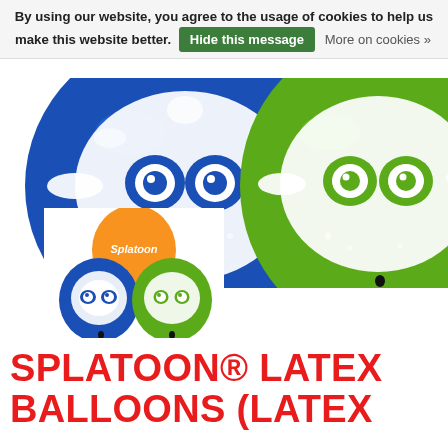By using our website, you agree to the usage of cookies to help us make this website better. Hide this message  More on cookies »
[Figure (photo): Two large Splatoon-themed latex balloons: one blue with a white splat/squid face design, one green with the same design, shown from the front against a white background.]
[Figure (photo): Three smaller Splatoon balloons grouped together: one orange with 'Splatoon' text, one blue with squid face, one green with squid face.]
SPLATOON® LATEX BALLOONS (LATEX